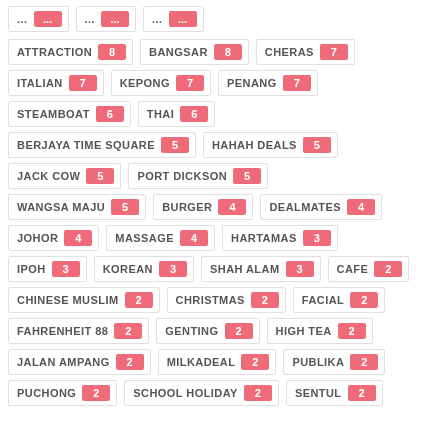ATTRACTION (8), BANGSAR (8), CHERAS (7)
ITALIAN (7), KEPONG (7), PENANG (7)
STEAMBOAT (6), THAI (6)
BERJAYA TIME SQUARE (5), HAHAH DEALS (5)
JACK COW (5), PORT DICKSON (5)
WANGSA MAJU (5), BURGER (4), DEALMATES (4)
JOHOR (4), MASSAGE (4), HARTAMAS (3)
IPOH (3), KOREAN (3), SHAH ALAM (3), CAFE (2)
CHINESE MUSLIM (2), CHRISTMAS (2), FACIAL (2)
FAHRENHEIT 88 (2), GENTING (2), HIGH TEA (2)
JALAN AMPANG (2), MILKADEAL (2), PUBLIKA (2)
PUCHONG (2), SCHOOL HOLIDAY (2), SENTUL (2)